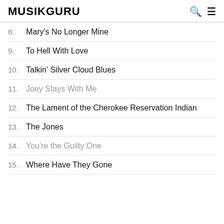MUSIKGURU
8.  Mary's No Longer Mine
9.  To Hell With Love
10.  Talkin' Silver Cloud Blues
11.  Joey Stays With Me
12.  The Lament of the Cherokee Reservation Indian
13.  The Jones
14.  You're the Guilty One
15.  Where Have They Gone